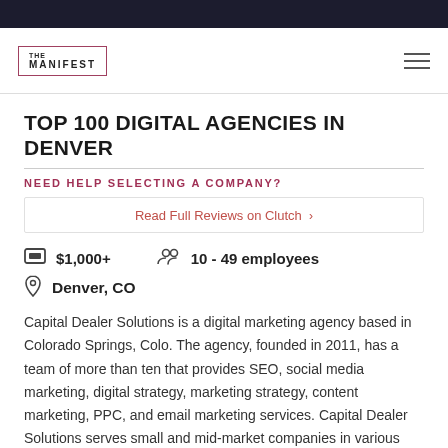THE MANIFEST
TOP 100 DIGITAL AGENCIES IN DENVER
NEED HELP SELECTING A COMPANY?
Read Full Reviews on Clutch  ›
$1,000+    10 - 49 employees
Denver, CO
Capital Dealer Solutions is a digital marketing agency based in Colorado Springs, Colo. The agency, founded in 2011, has a team of more than ten that provides SEO, social media marketing, digital strategy, marketing strategy, content marketing, PPC, and email marketing services. Capital Dealer Solutions serves small and mid-market companies in various industries that include e-commerce, dental, and